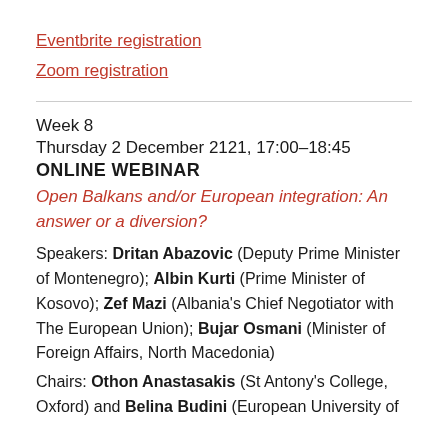Eventbrite registration
Zoom registration
Week 8
Thursday 2 December 2121, 17:00–18:45
ONLINE WEBINAR
Open Balkans and/or European integration: An answer or a diversion?
Speakers: Dritan Abazovic (Deputy Prime Minister of Montenegro); Albin Kurti (Prime Minister of Kosovo); Zef Mazi (Albania's Chief Negotiator with The European Union); Bujar Osmani (Minister of Foreign Affairs, North Macedonia)
Chairs: Othon Anastasakis (St Antony's College, Oxford) and Belina Budini (European University of